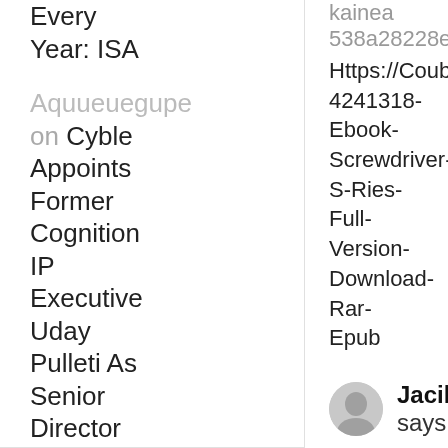Every Year: ISA
Aquueuegupe on Cyble Appoints Former Cognition IP Executive Uday Pulleti As Senior Director – AI
kainea 538a28228e
Https://Coub.Com/Stories/4241318-Ebook-Screwdriver-S-Ries-Full-Version-Download-Rar-Epub
Jacilon says:
March 15, 2022 At 6:11 Am
jacilon 538a28228e
Https://Coub.Com/Stories/4384452-Vray-3ds-Max-2013-X-Pc-Activator-64bit-Software-Full